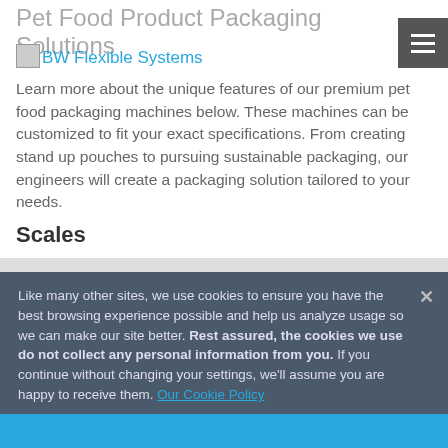Pet Food Product Packaging Solutions
[Figure (logo): BW Flexible Systems logo placeholder image]
BW Flexible Systems
[Figure (other): Hamburger menu button (three horizontal lines on dark gray background)]
Learn more about the unique features of our premium pet food packaging machines below. These machines can be customized to fit your exact specifications. From creating stand up pouches to pursuing sustainable packaging, our engineers will create a packaging solution tailored to your needs.
Scales
Like many other sites, we use cookies to ensure you have the best browsing experience possible and help us analyze usage so we can make our site better. Rest assured, the cookies we use do not collect any personal information from you. If you continue without changing your settings, we'll assume you are happy to receive them. Our Cookie Policy